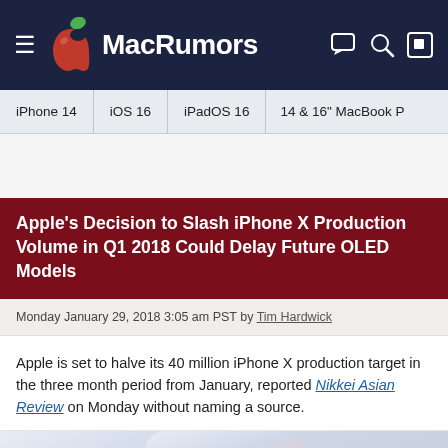MacRumors
iPhone 14 | iOS 16 | iPadOS 16 | 14 & 16" MacBook P
Apple's Decision to Slash iPhone X Production Volume in Q1 2018 Could Delay Future OLED Models
Monday January 29, 2018 3:05 am PST by Tim Hardwick
Apple is set to halve its 40 million iPhone X production target in the three month period from January, reported Nikkei Asian Review on Monday without naming a source.